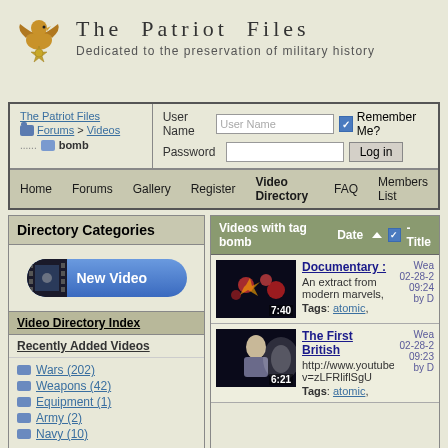The Patriot Files
Dedicated to the preservation of military history
The Patriot Files Forums > Videos bomb | User Name | Password | Remember Me? | Log in
Home | Forums | Gallery | Register | Video Directory | FAQ | Members List
Directory Categories
[Figure (screenshot): New Video button with film strip icon]
Video Directory Index
Recently Added Videos
Wars (202)
Weapons (42)
Equipment (1)
Army (2)
Navy (10)
Videos with tag bomb   Date - Title
Documentary :
An extract from modern marvels,
Tags: atomic,
Wea 02-28-2 09:24 by D
7:40
The First British
http://www.youtube v=zLFRliflSgU
Tags: atomic,
Wea 02-28-2 09:23 by D
6:21